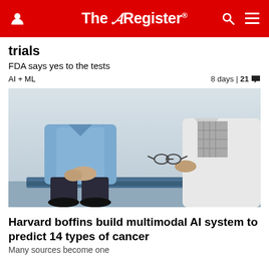The Register
trials
FDA says yes to the tests
AI + ML   8 days | 21 💬
[Figure (photo): A patient in a blue shirt sitting on an examination table with hands clasped, next to a doctor in a white coat holding glasses]
Harvard boffins build multimodal AI system to predict 14 types of cancer
Many sources become one